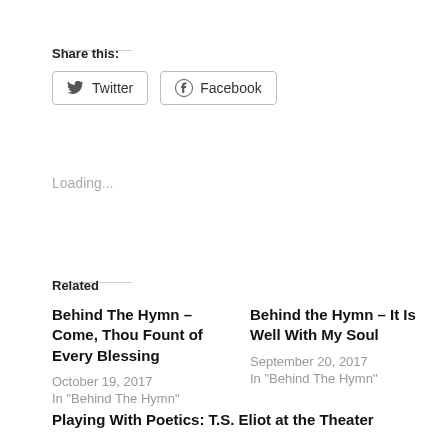Share this:
[Figure (infographic): Twitter and Facebook share buttons with icons]
Loading...
Related
Behind The Hymn – Come, Thou Fount of Every Blessing
October 19, 2017
In "Behind The Hymn"
Behind the Hymn – It Is Well With My Soul
September 20, 2017
In "Behind The Hymn"
Playing With Poetics: T.S. Eliot at the Theater